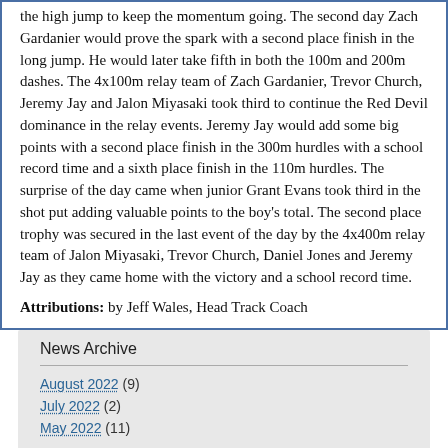the high jump to keep the momentum going. The second day Zach Gardanier would prove the spark with a second place finish in the long jump. He would later take fifth in both the 100m and 200m dashes. The 4x100m relay team of Zach Gardanier, Trevor Church, Jeremy Jay and Jalon Miyasaki took third to continue the Red Devil dominance in the relay events. Jeremy Jay would add some big points with a second place finish in the 300m hurdles with a school record time and a sixth place finish in the 110m hurdles. The surprise of the day came when junior Grant Evans took third in the shot put adding valuable points to the boy's total. The second place trophy was secured in the last event of the day by the 4x400m relay team of Jalon Miyasaki, Trevor Church, Daniel Jones and Jeremy Jay as they came home with the victory and a school record time.
Attributions: by Jeff Wales, Head Track Coach
News Archive
August 2022 (9)
July 2022 (2)
May 2022 (11)